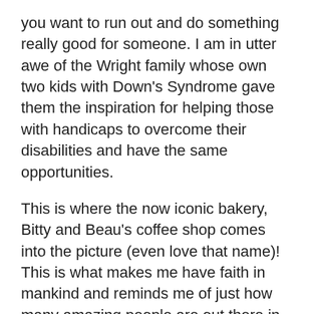you want to run out and do something really good for someone. I am in utter awe of the Wright family whose own two kids with Down's Syndrome gave them the inspiration for helping those with handicaps to overcome their disabilities and have the same opportunities.
This is where the now iconic bakery, Bitty and Beau's coffee shop comes into the picture (even love that name)! This is what makes me have faith in mankind and reminds me of just how many amazing people are out there in our great big world Was thrilled to learn they are one of the top 10 chosen for CNN'S heroes, recognizing ordinary people changing the world... (text continues)